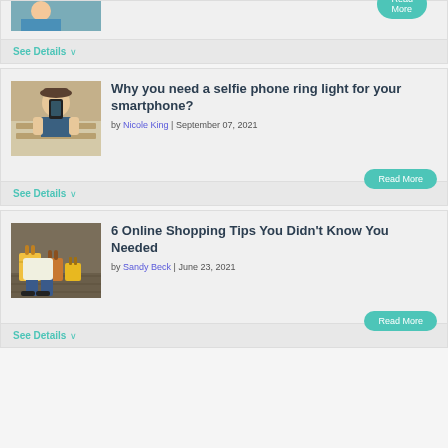[Figure (photo): Partial top card with image (cropped, person visible) and Read More button]
See Details ∨
[Figure (photo): Person holding up a smartphone camera]
Why you need a selfie phone ring light for your smartphone?
by Nicole King | September 07, 2021
Read More
See Details ∨
[Figure (photo): Shopping bags and packages on floor, person sitting]
6 Online Shopping Tips You Didn't Know You Needed
by Sandy Beck | June 23, 2021
Read More
See Details ∨